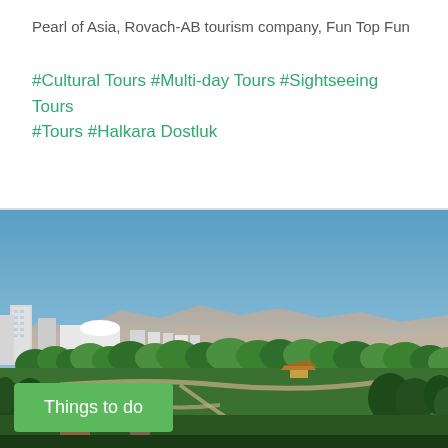Pearl of Asia, Rovach-AB tourism company, Fun Top Fun
#Cultural Tours #Multi-day Tours #Sightseeing Tours #Tours #Halkara Dostluk
[Figure (photo): Panoramic cityscape view showing a park with lush trees, winding paths, a gazebo, and urban buildings in the background with mountains on the horizon under a clear blue sky.]
Things to do